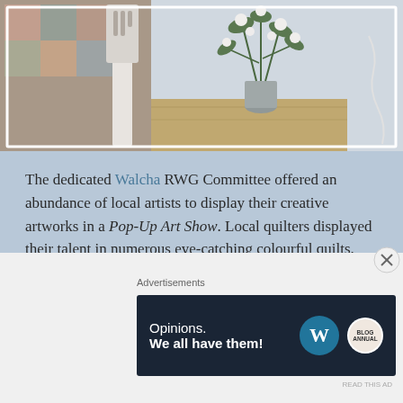[Figure (photo): Photo of quilts/spatula on left side and floral arrangement with white flowers in a vase on a wooden surface on the right, taken at an indoor event setting.]
The dedicated Walcha RWG Committee offered an abundance of local artists to display their creative artworks in a Pop-Up Art Show.  Local quilters displayed their talent in numerous eye-catching colourful quilts.  Local market stalls provided a beautiful selection of giftwares, luxury items for the lady and unique creations during the weekend for sale.  Service providers were also in attendance to share advice and assistance wherever possible.
Advertisements
[Figure (screenshot): WordPress advertisement banner: 'Opinions. We all have them!' with WordPress logo and another circular logo on dark navy background.]